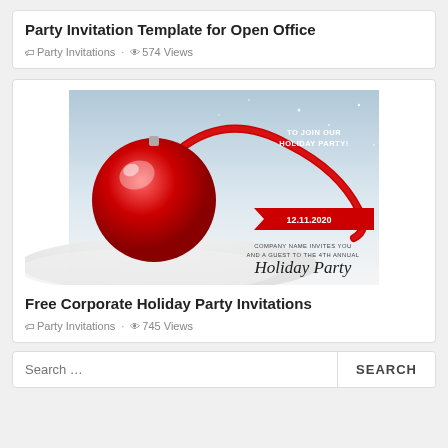Party Invitation Template for Open Office
Party Invitations · 574 Views
[Figure (illustration): Holiday party invitation card showing a red Christmas ornament with ribbon on snow background, with text: TO JOIN OUR HOLIDAY PARTY!, 12.11.2020, COMPANY NAME INVITES YOU AND A GUEST TO THE 4TH ANNUAL Holiday Party, ON FRIDAY, DECEMBER 11TH, 2020 AT SEVEN OCLOCK IN THE EVENING, THE GRAND INN HOTEL 1234 FOUR NORTH BEND AVENUE]
Free Corporate Holiday Party Invitations
Party Invitations · 745 Views